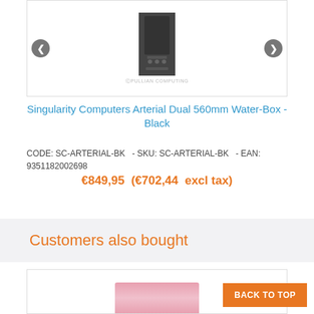[Figure (photo): Product image of Singularity Computers Arterial Dual 560mm Water-Box in Black, shown in a carousel with left and right navigation arrows. A small watermark/logo is visible below the product image.]
Singularity Computers Arterial Dual 560mm Water-Box - Black
CODE: SC-ARTERIAL-BK  - SKU: SC-ARTERIAL-BK  - EAN: 9351182002698
€849,95  (€702,44  excl tax)
Customers also bought
[Figure (photo): Related product image partially shown at the bottom of the page, appears to be a pink/rose colored product.]